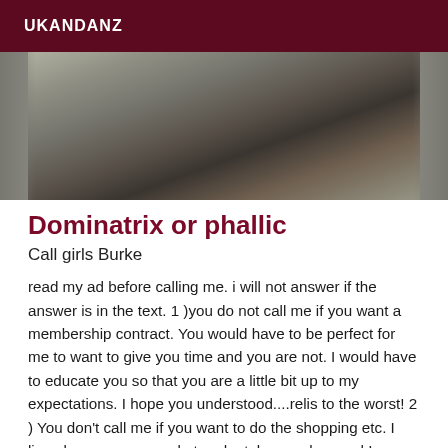UKANDANZ
[Figure (photo): Partial photo showing what appears to be a dark background with a person's leg/foot visible]
Dominatrix or phallic
Call girls Burke
read my ad before calling me. i will not answer if the answer is in the text. 1 )you do not call me if you want a membership contract. You would have to be perfect for me to want to give you time and you are not. I would have to educate you so that you are a little bit up to my expectations. I hope you understood....relis to the worst! 2 ) You don't call me if you want to do the shopping etc. I live above a supermarket and a tobacco shop and I am transported. I don't wait for you, it would be like waiting for Santa Claus. 3) You don t call me if you are on the